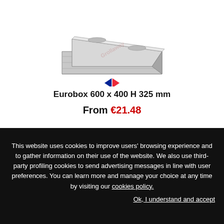[Figure (photo): Grey plastic Eurobox storage container, 600x400 H 325mm, photographed at an angle showing the front and top. A watermark 'Grollaway' is faintly visible on the image. Below the product image is a French flag chevron/checkmark icon.]
Eurobox 600 x 400 H 325 mm
From €21.48
X
This website uses cookies to improve users' browsing experience and to gather information on their use of the website. We also use third-party profiling cookies to send advertising messages in line with user preferences. You can learn more and manage your choice at any time by visiting our cookies policy.
Ok, I understand and accept